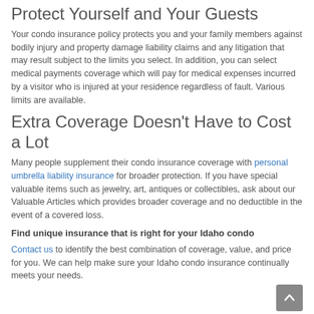make sure you're properly covered.
Protect Yourself and Your Guests
Your condo insurance policy protects you and your family members against bodily injury and property damage liability claims and any litigation that may result subject to the limits you select. In addition, you can select medical payments coverage which will pay for medical expenses incurred by a visitor who is injured at your residence regardless of fault. Various limits are available.
Extra Coverage Doesn't Have to Cost a Lot
Many people supplement their condo insurance coverage with personal umbrella liability insurance for broader protection. If you have special valuable items such as jewelry, art, antiques or collectibles, ask about our Valuable Articles which provides broader coverage and no deductible in the event of a covered loss.
Find unique insurance that is right for your Idaho condo
Contact us to identify the best combination of coverage, value, and price for you. We can help make sure your Idaho condo insurance continually meets your needs.